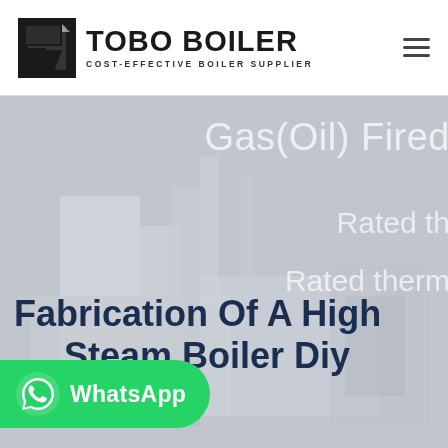TOBO BOILER — COST-EFFECTIVE BOILER SUPPLIER
[Figure (screenshot): Website hero banner showing a gas/oil fired boiler industrial image with overlaid text: 'Gas(Oil) Fired', 'Rated th...', 'Rated therm...' and a large dark blue heading 'Fabrication Of A High Steam Boiler Diy' with a green WhatsApp button overlay at the bottom left.]